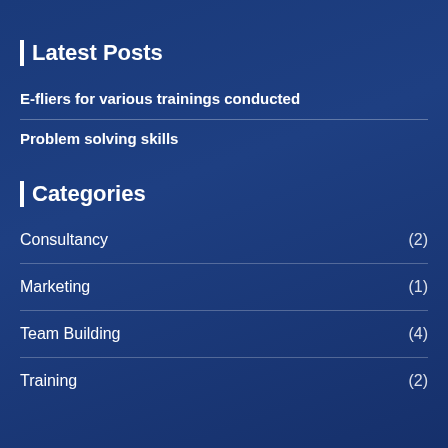| Latest Posts
E-fliers for various trainings conducted
Problem solving skills
| Categories
Consultancy (2)
Marketing (1)
Team Building (4)
Training (2)